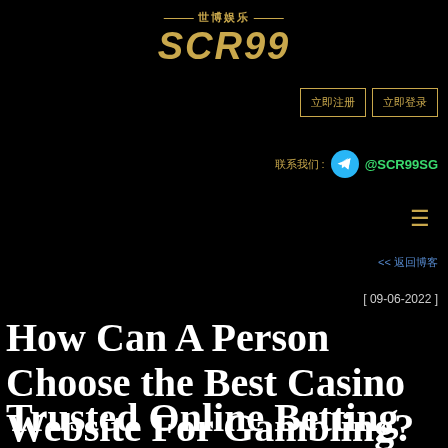[Figure (logo): SCR99 casino website logo with Chinese characters 世博娱乐 and golden stylized SCR99 text]
立即注册   立即登录
联系我们 : @SCR99SG
How Can A Person Choose the Best Casino Website For Gambling?
[ 09-06-2022 ]
Trusted Online Betting